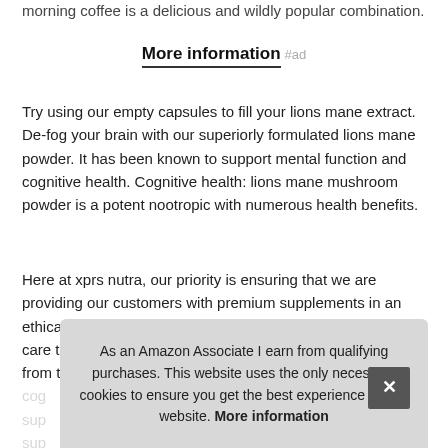morning coffee is a delicious and wildly popular combination.
More information #ad
Try using our empty capsules to fill your lions mane extract. De-fog your brain with our superiorly formulated lions mane powder. It has been known to support mental function and cognitive health. Cognitive health: lions mane mushroom powder is a potent nootropic with numerous health benefits.
Here at xprs nutra, our priority is ensuring that we are providing our customers with premium supplements in an ethical manner and at an affordable price. We take great care to ensure that we are sourcing our lion mane powder from trus[ted]... cognitive health... supplements... supplements...
As an Amazon Associate I earn from qualifying purchases. This website uses the only necessary cookies to ensure you get the best experience on our website. More information